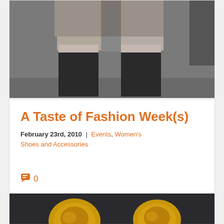[Figure (photo): Fashion runway photo showing model's lower body wearing grey shorts/blazer and black over-the-knee socks/stockings]
A Taste of Fashion Week(s)
February 23rd, 2010 | Events, Women's Shoes and Accessories
0
[Figure (photo): Close-up photo of ornate gold jewelry/accessories on dark background]